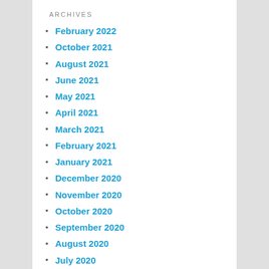ARCHIVES
February 2022
October 2021
August 2021
June 2021
May 2021
April 2021
March 2021
February 2021
January 2021
December 2020
November 2020
October 2020
September 2020
August 2020
July 2020
June 2020
May 2020
April 2020
June 2017